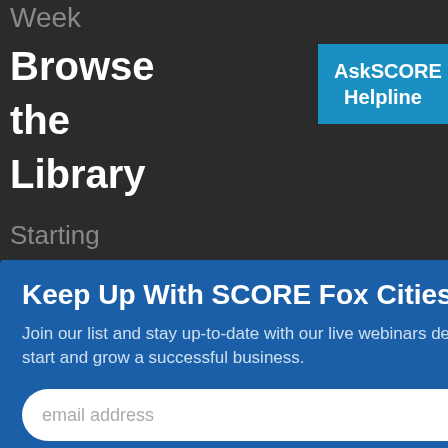Week
Browse
the
Library
Starting
AskSCORE Helpline
Keep Up With SCORE Fox Cities
Join our list and stay up-to-date with our live webinars designed to help you start and grow a successful business.
SUBMIT
Involved
Our
Programs